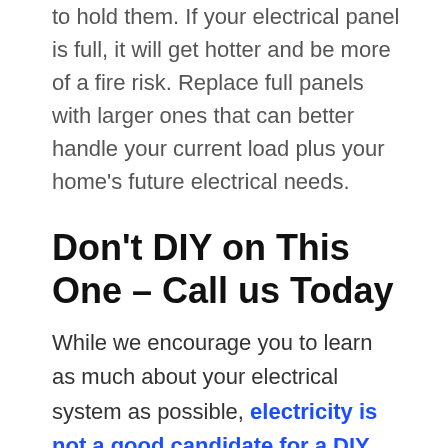to hold them. If your electrical panel is full, it will get hotter and be more of a fire risk. Replace full panels with larger ones that can better handle your current load plus your home's future electrical needs.
Don't DIY on This One – Call us Today
While we encourage you to learn as much about your electrical system as possible, electricity is not a good candidate for a DIY project. DIY wiring is not only dangerous, it seldom meets codes and can be far more costly to repair in the future. Anthony PHCE's licensed and trained electricians